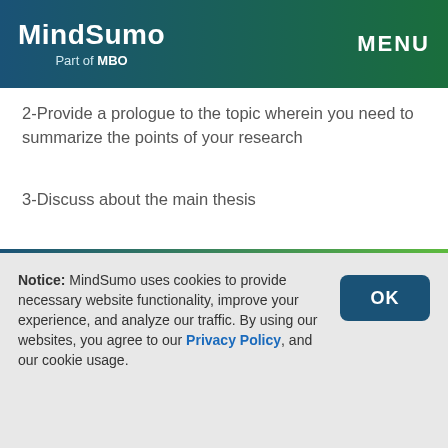MindSumo Part of MBO | MENU
2-Provide a prologue to the topic wherein you need to summarize the points of your research
3-Discuss about the main thesis
4-Provide an ideal writing survey that is based on the topic of paper
Notice: MindSumo uses cookies to provide necessary website functionality, improve your experience, and analyze our traffic. By using our websites, you agree to our Privacy Policy, and our cookie usage.